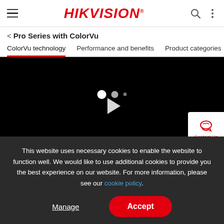HIKVISION
< Pro Series with ColorVu
ColorVu technology | Performance and benefits | Product categories
[Figure (screenshot): Black video player with dots and play button, Contact Us widget in bottom right corner]
This website uses necessary cookies to enable the website to function well. We would like to use additional cookies to provide you the best experience on our website. For more information, please see our cookie policy.
Manage | Accept